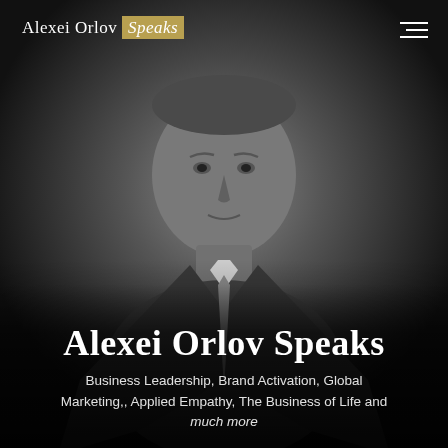Alexei Orlov Speaks
[Figure (photo): Black and white portrait photograph of Alexei Orlov, an older gentleman in a suit jacket, looking directly at the camera against a dark background.]
Alexei Orlov Speaks
Business Leadership, Brand Activation, Global Marketing,, Applied Empathy, The Business of Life and much more